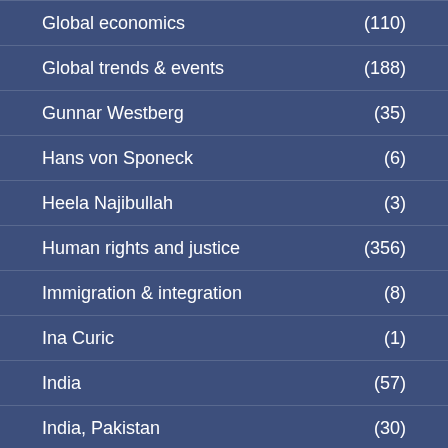Global economics (110)
Global trends & events (188)
Gunnar Westberg (35)
Hans von Sponeck (6)
Heela Najibullah (3)
Human rights and justice (356)
Immigration & integration (8)
Ina Curic (1)
India (57)
India, Pakistan (30)